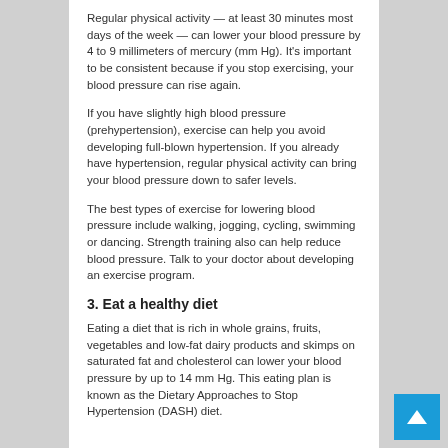Regular physical activity — at least 30 minutes most days of the week — can lower your blood pressure by 4 to 9 millimeters of mercury (mm Hg). It's important to be consistent because if you stop exercising, your blood pressure can rise again.
If you have slightly high blood pressure (prehypertension), exercise can help you avoid developing full-blown hypertension. If you already have hypertension, regular physical activity can bring your blood pressure down to safer levels.
The best types of exercise for lowering blood pressure include walking, jogging, cycling, swimming or dancing. Strength training also can help reduce blood pressure. Talk to your doctor about developing an exercise program.
3. Eat a healthy diet
Eating a diet that is rich in whole grains, fruits, vegetables and low-fat dairy products and skimps on saturated fat and cholesterol can lower your blood pressure by up to 14 mm Hg. This eating plan is known as the Dietary Approaches to Stop Hypertension (DASH) diet.